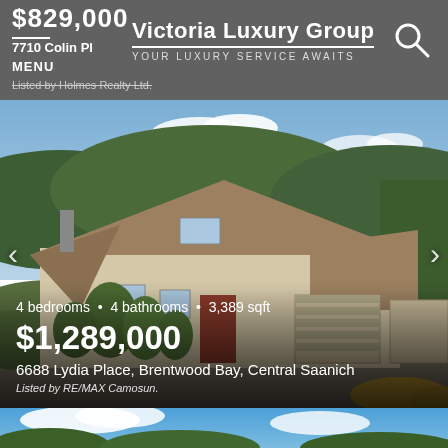Victoria Luxury Group — YOUR LUXURY SERVICE AWAITS
$829,000
7710 Colin Pl
MENU
Listed by Holmes Realty Ltd.
[Figure (photo): Exterior photo of a single-story ranch-style house with brown shingled roof, attached double garage, surrounded by lush trees and greenery with mountains in background. Sky is partly cloudy.]
4 bedrooms  •  4 bathrooms  •  3,389 sqft
$1,289,000
6688 Lydia Place, Brentwood Bay, Central Saanich
Listed by RE/MAX Camosun.
[Figure (photo): Partial view of another property listing at the bottom of the page, showing sky and trees.]